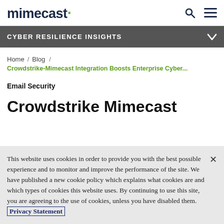mimecast
CYBER RESILIENCE INSIGHTS
Home / Blog / Crowdstrike-Mimecast Integration Boosts Enterprise Cyber...
Email Security
Crowdstrike Mimecast
This website uses cookies in order to provide you with the best possible experience and to monitor and improve the performance of the site. We have published a new cookie policy which explains what cookies are and which types of cookies this website uses. By continuing to use this site, you are agreeing to the use of cookies, unless you have disabled them. Privacy Statement